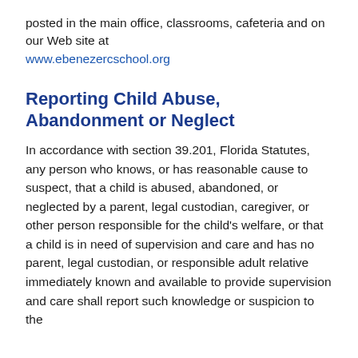posted in the main office, classrooms, cafeteria and on our Web site at www.ebenezercschool.org
Reporting Child Abuse, Abandonment or Neglect
In accordance with section 39.201, Florida Statutes, any person who knows, or has reasonable cause to suspect, that a child is abused, abandoned, or neglected by a parent, legal custodian, caregiver, or other person responsible for the child's welfare, or that a child is in need of supervision and care and has no parent, legal custodian, or responsible adult relative immediately known and available to provide supervision and care shall report such knowledge or suspicion to the